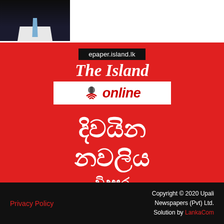[Figure (photo): Photo of a person in a dark suit with a light blue tie, cropped to show head and upper body]
[Figure (logo): The Island Online newspaper logo on red background. Shows 'epaper.island.lk' text, 'The Island' in large italic white serif font, and 'online' in a white box with microphone icon in red text]
දිවයින නවලිය
[Figure (logo): Vidusara logo with Sinhala text and tagline 'vidaa samaya']
Privacy Policy    Copyright © 2020 Upali Newspapers (Pvt) Ltd. Solution by LankaCom